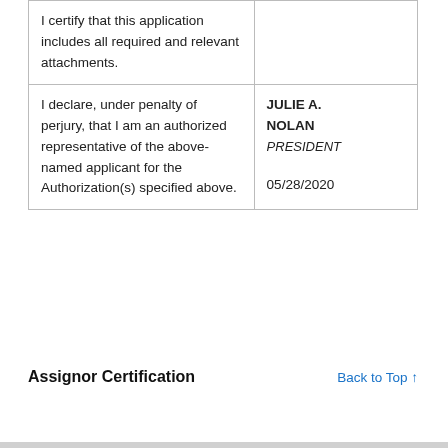| I certify that this application includes all required and relevant attachments. |  |
| I declare, under penalty of perjury, that I am an authorized representative of the above-named applicant for the Authorization(s) specified above. | JULIE A. NOLAN
PRESIDENT

05/28/2020 |
Assignor Certification
Back to Top ↑